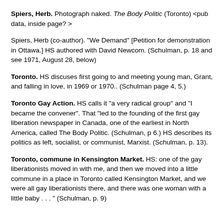Spiers, Herb. Photograph naked. The Body Politic (Toronto) <pub data, inside page? >
Spiers, Herb (co-author). "We Demand" [Petition for demonstration in Ottawa.] HS authored with David Newcom. (Schulman, p. 18 and see 1971, August 28, below)
Toronto. HS discuses first going to and meeting young man, Grant, and falling in love, in 1969 or 1970.. (Schulman page 4, 5.)
Toronto Gay Action. HS calls it "a very radical group" and "I became the convener". That "led to the founding of the first gay liberation newspaper in Canada, one of the earliest in North America, called The Body Politic. (Schulman, p 6.) HS describes its politics as left, socialist, or communist, Marxist. (Schulman, p. 13).
Toronto, commune in Kensington Market. HS: one of the gay liberationists moved in with me, and then we moved into a little commune in a place in Toronto called Kensington Market, and we were all gay liberationists there, and there was one woman with a little baby . . . " (Schulman, p. 9)